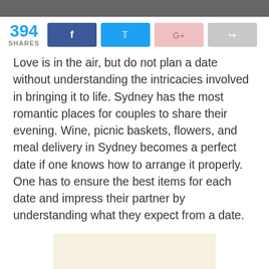[Figure (photo): Top portion of a photograph, partially cropped]
394 SHARES
Love is in the air, but do not plan a date without understanding the intricacies involved in bringing it to life. Sydney has the most romantic places for couples to share their evening. Wine, picnic baskets, flowers, and meal delivery in Sydney becomes a perfect date if one knows how to arrange it properly. One has to ensure the best items for each date and impress their partner by understanding what they expect from a date.
[Figure (other): Advertisement placeholder block with cream/beige background]